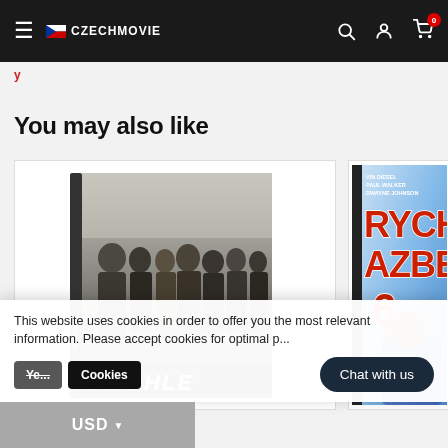CZECHMOVIE — navigation bar with search, account, and cart icons (0 items)
y
You may also like
[Figure (photo): DVD cover of Czech movie 'Rychle' showing a group of people standing together in a monochrome group photo style]
[Figure (photo): Partial DVD cover of 'Rych a Zbes 6' with VIN DIESEL, PAUL WALKER, DWAYNE JOHNSON credits at top, red title letters on blue background]
This website uses cookies in order to offer you the most relevant information. Please accept cookies for optimal p...
Accept Cookies
Chat with us
USD